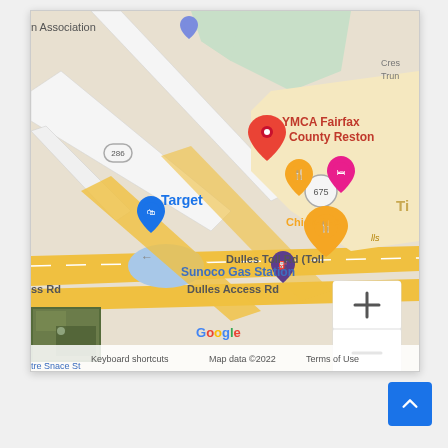[Figure (map): Google Maps screenshot showing YMCA Fairfax County Reston location with nearby landmarks: Target, Sunoco Gas Station, Chick-fil-A. Roads visible include Dulles Toll Rd (Toll) and Dulles Access Rd. Map controls (zoom in/out) and Google branding visible. Satellite thumbnail in bottom-left corner. Map data ©2022, Keyboard shortcuts, Terms of Use labels at bottom.]